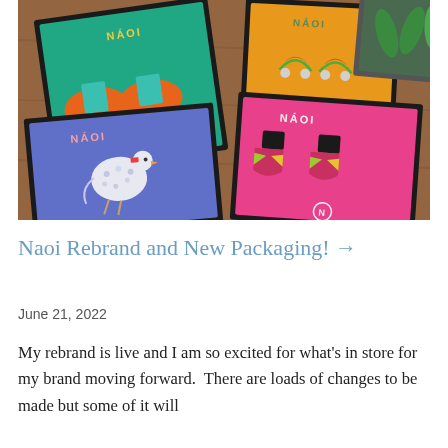[Figure (photo): Overhead photo of colorful NAOI jewelry packaging boxes arranged on a wooden surface. Boxes contain earrings and brooches in bright colors — teal, orange, blue, pink, yellow/orange. Brand name NAOI visible on insides of boxes.]
Naoi Rebrand and New Packaging! →
June 21, 2022
My rebrand is live and I am so excited for what's in store for my brand moving forward.  There are loads of changes to be made but some of it will